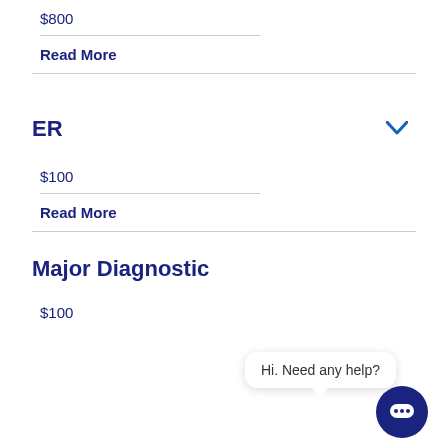$800
Read More
ER
$100
Read More
Major Diagnostic
$100